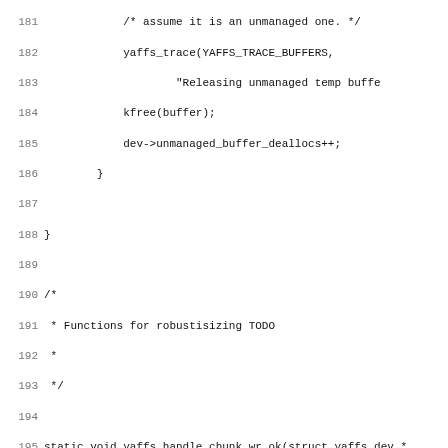Source code listing lines 181-212, C code for yaffs filesystem functions including yaffs_handle_chunk_wr_ok and yaffs_handle_chunk_update